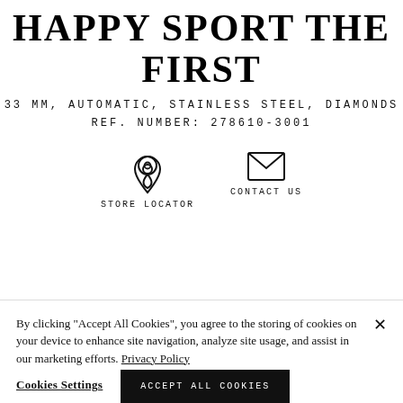HAPPY SPORT THE FIRST
33 MM, AUTOMATIC, STAINLESS STEEL, DIAMONDS
REF. NUMBER: 278610-3001
[Figure (infographic): Location pin icon above text STORE LOCATOR and envelope icon above text CONTACT US]
By clicking “Accept All Cookies”, you agree to the storing of cookies on your device to enhance site navigation, analyze site usage, and assist in our marketing efforts. Privacy Policy
Cookies Settings   ACCEPT ALL COOKIES